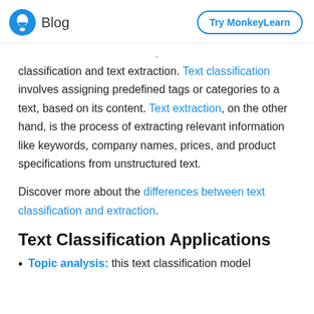Blog | Try MonkeyLearn
classification and text extraction. Text classification involves assigning predefined tags or categories to a text, based on its content. Text extraction, on the other hand, is the process of extracting relevant information like keywords, company names, prices, and product specifications from unstructured text.
Discover more about the differences between text classification and extraction.
Text Classification Applications
Topic analysis: this text classification model